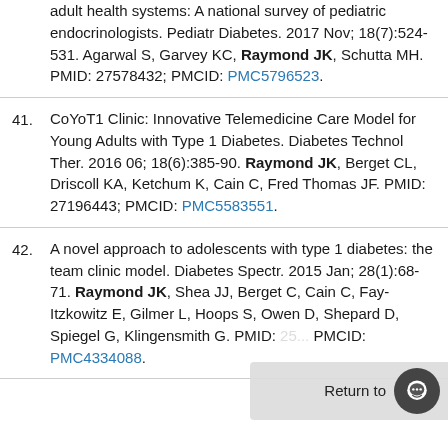adult health systems: A national survey of pediatric endocrinologists. Pediatr Diabetes. 2017 Nov; 18(7):524-531. Agarwal S, Garvey KC, Raymond JK, Schutta MH. PMID: 27578432; PMCID: PMC5796523.
41. CoYoT1 Clinic: Innovative Telemedicine Care Model for Young Adults with Type 1 Diabetes. Diabetes Technol Ther. 2016 06; 18(6):385-90. Raymond JK, Berget CL, Driscoll KA, Ketchum K, Cain C, Fred Thomas JF. PMID: 27196443; PMCID: PMC5583551.
42. A novel approach to adolescents with type 1 diabetes: the team clinic model. Diabetes Spectr. 2015 Jan; 28(1):68-71. Raymond JK, Shea JJ, Berget C, Cain C, Fay-Itzkowitz E, Gilmer L, Hoops S, Owen D, Shepard D, Spiegel G, Klingensmith G. PMID: [truncated] PMCID: PMC4334088.